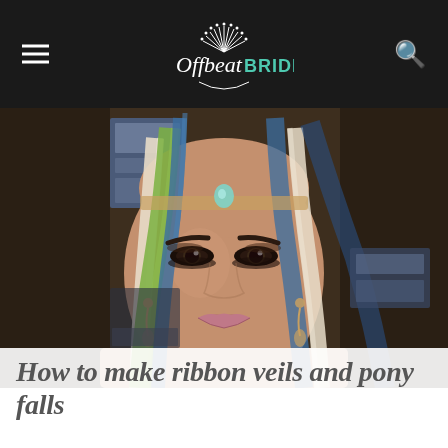Offbeat Bride
[Figure (photo): A woman with dramatic smoky eye makeup wearing an elaborate colorful headdress made of ribbons and fabric in blue, green, cream, and patterned colors, with a jeweled bindi on her forehead and chandelier earrings]
How to make ribbon veils and pony falls